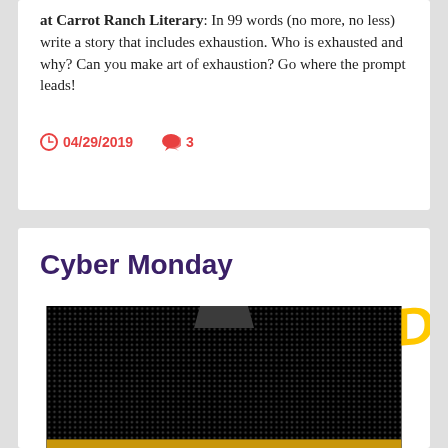at Carrot Ranch Literary: In 99 words (no more, no less) write a story that includes exhaustion. Who is exhausted and why? Can you make art of exhaustion? Go where the prompt leads!
04/29/2019   3
Cyber Monday
[Figure (photo): LED marquee sign displaying 'CYBER MONDAY' in glowing red, orange, and yellow dot-matrix letters on a dark/black curved display board.]